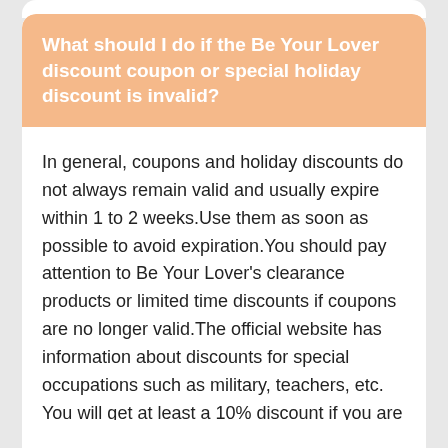What should I do if the Be Your Lover discount coupon or special holiday discount is invalid?
In general, coupons and holiday discounts do not always remain valid and usually expire within 1 to 2 weeks.Use them as soon as possible to avoid expiration.You should pay attention to Be Your Lover's clearance products or limited time discounts if coupons are no longer valid.The official website has information about discounts for special occupations such as military, teachers, etc. You will get at least a 10% discount if you are a special occupation